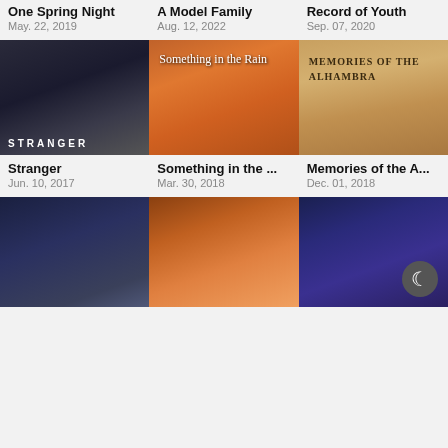One Spring Night
May. 22, 2019
A Model Family
Aug. 12, 2022
Record of Youth
Sep. 07, 2020
[Figure (photo): Stranger Korean drama poster - two faces in dark tones with text STRANGER at bottom]
[Figure (photo): Something in the Rain Korean drama poster - couple under umbrella in warm orange tones with cursive title]
[Figure (photo): Memories of the Alhambra Korean drama poster - couple standing in warm golden landscape]
Stranger
Jun. 10, 2017
Something in the ...
Mar. 30, 2018
Memories of the A...
Dec. 01, 2018
[Figure (photo): Korean drama poster with men in suits in dark blue tones]
[Figure (photo): Action drama/movie poster with orange fire tones and machinery]
[Figure (photo): Action drama poster in dark blue tones with moon icon overlay in bottom right]